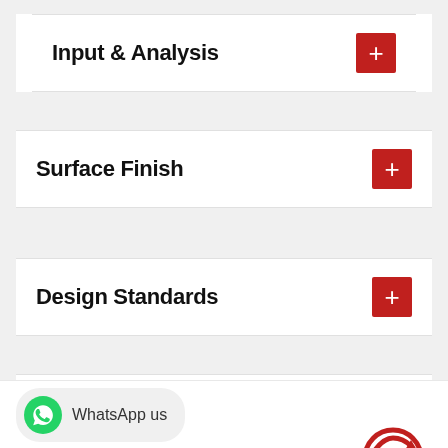Input & Analysis
Surface Finish
Design Standards
Mounting and Assembly
WhatsApp us